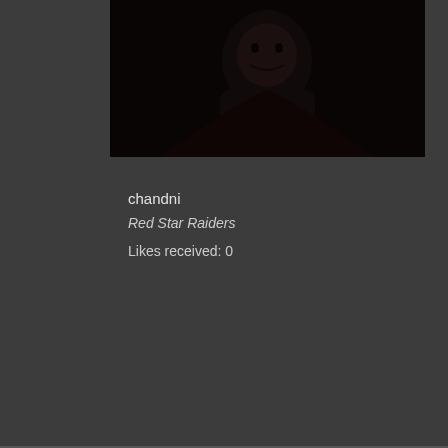[Figure (photo): Dark avatar/profile image showing a shadowy figure, dark tones with reddish-brown background]
chandni
Red Star Raiders
Likes received: 0
I have been doing missions, mining & i
Since I am still partially a care bear I wa
Being an outlaw comes across as being and not a grind.
I tried FW but that was too similar to mis
I tried some solo PVP and bullied a few return 🤔.
I thought about training up probing more runners, would that even be worth my ti
Any suggestions are welcome and I am mind going to low/null sec and I have al
I recently got another account through C
Regards